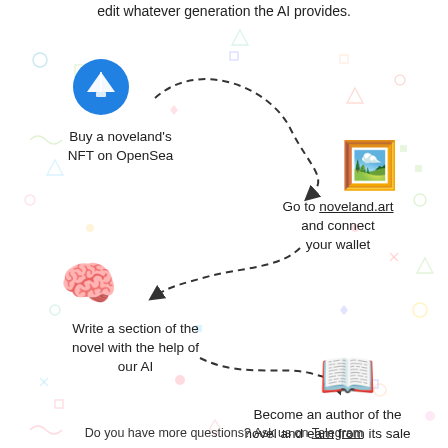edit whatever generation the AI provides.
[Figure (infographic): Four-step circular process diagram with dashed arrows connecting icons: 1) OpenSea blue circle boat icon - Buy a noveland's NFT on OpenSea, 2) Painting emoji icon - Go to noveland.art and connect your wallet, 3) Brain emoji - Write a section of the novel with the help of our AI, 4) Open book emoji - Become an author of the novel and earn from its sale]
Do you have more questions? Ask us on Telegram